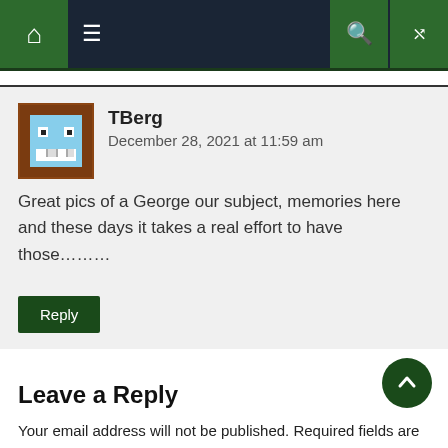Navigation bar with home, menu, search, and random icons
TBerg
December 28, 2021 at 11:59 am

Great pics of a George our subject, memories here and these days it takes a real effort to have those.........
Reply
Leave a Reply
Your email address will not be published. Required fields are marked *
Comment *